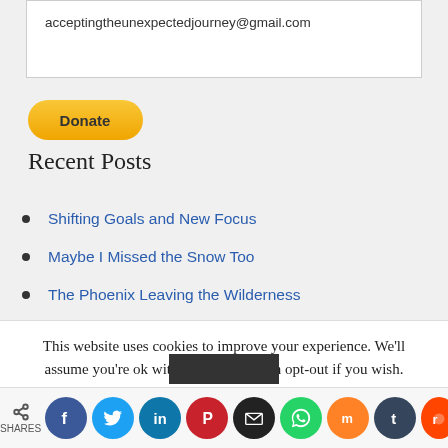acceptingtheunexpectedjourney@gmail.com
[Figure (other): PayPal Donate button with yellow rounded rectangle and bold black text]
Recent Posts
Shifting Goals and New Focus
Maybe I Missed the Snow Too
The Phoenix Leaving the Wilderness
I Started a Year of Healing With COVID
This website uses cookies to improve your experience. We'll assume you're ok with this, but you can opt-out if you wish.
SHARES [social media icons: Facebook, Twitter, LinkedIn, Pinterest, Email, WhatsApp, Mix, Tumblr, Reddit]